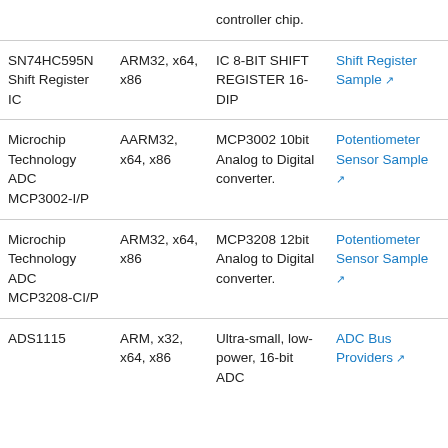| Component | Platform | Description | Sample |
| --- | --- | --- | --- |
|  |  | controller chip. |  |
| SN74HC595N Shift Register IC | ARM32, x64, x86 | IC 8-BIT SHIFT REGISTER 16-DIP | Shift Register Sample ↗ |
| Microchip Technology ADC MCP3002-I/P | AARM32, x64, x86 | MCP3002 10bit Analog to Digital converter. | Potentiometer Sensor Sample ↗ |
| Microchip Technology ADC MCP3208-CI/P | ARM32, x64, x86 | MCP3208 12bit Analog to Digital converter. | Potentiometer Sensor Sample ↗ |
| ADS1115 | ARM, x32, x64, x86 | Ultra-small, low-power, 16-bit ADC | ADC Bus Providers ↗ |